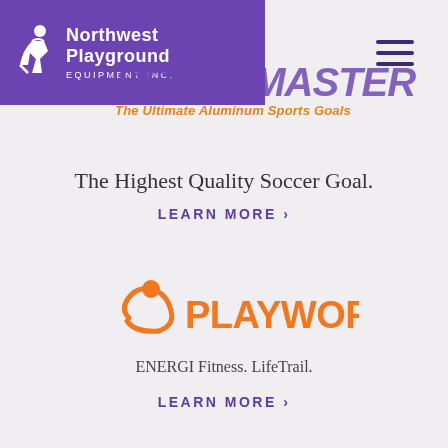[Figure (logo): Northwest Playground Equipment Inc. logo — purple banner with white stick figure and white text]
[Figure (logo): Scoremaster logo overlay — large purple italic text 'SCOREMASTER' with orange tagline 'The Ultimate Aluminum Sports Goals']
[Figure (other): Hamburger menu icon — three dark navy horizontal bars in top right]
The Highest Quality Soccer Goal.
LEARN MORE ›
[Figure (logo): Playworld logo — orange stylized figure icon with orange bold text 'PLAYWORLD']
ENERGI Fitness. LifeTrail.
LEARN MORE ›